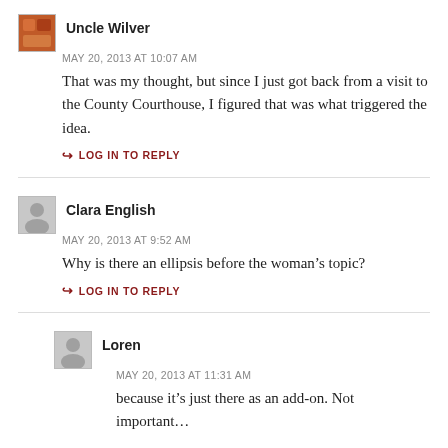Uncle Wilver
MAY 20, 2013 AT 10:07 AM
That was my thought, but since I just got back from a visit to the County Courthouse, I figured that was what triggered the idea.
LOG IN TO REPLY
Clara English
MAY 20, 2013 AT 9:52 AM
Why is there an ellipsis before the woman’s topic?
LOG IN TO REPLY
Loren
MAY 20, 2013 AT 11:31 AM
because it’s just there as an add-on. Not important…